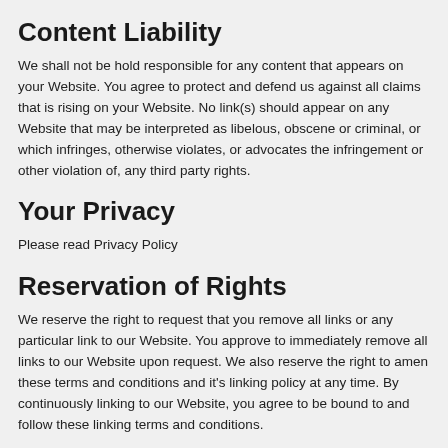Content Liability
We shall not be hold responsible for any content that appears on your Website. You agree to protect and defend us against all claims that is rising on your Website. No link(s) should appear on any Website that may be interpreted as libelous, obscene or criminal, or which infringes, otherwise violates, or advocates the infringement or other violation of, any third party rights.
Your Privacy
Please read Privacy Policy
Reservation of Rights
We reserve the right to request that you remove all links or any particular link to our Website. You approve to immediately remove all links to our Website upon request. We also reserve the right to amen these terms and conditions and it's linking policy at any time. By continuously linking to our Website, you agree to be bound to and follow these linking terms and conditions.